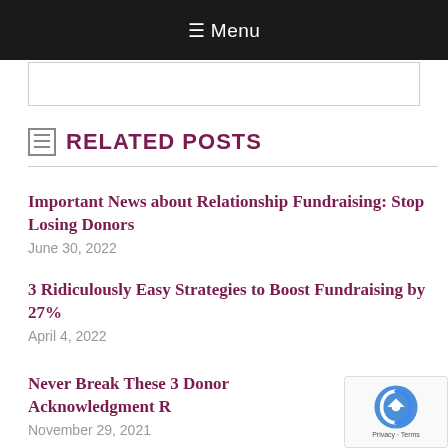≡ Menu
RELATED POSTS
Important News about Relationship Fundraising: Stop Losing Donors
June 30, 2022
3 Ridiculously Easy Strategies to Boost Fundraising by 27%
April 4, 2022
Never Break These 3 Donor Acknowledgment R…
November 29, 2021